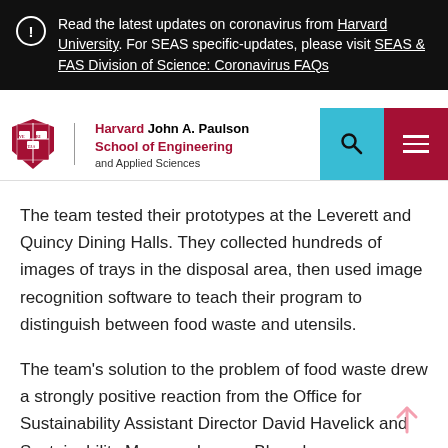Read the latest updates on coronavirus from Harvard University. For SEAS specific-updates, please visit SEAS & FAS Division of Science: Coronavirus FAQs
[Figure (logo): Harvard John A. Paulson School of Engineering and Applied Sciences logo with shield, search icon, and hamburger menu]
The team tested their prototypes at the Leverett and Quincy Dining Halls. They collected hundreds of images of trays in the disposal area, then used image recognition software to teach their program to distinguish between food waste and utensils.
The team's solution to the problem of food waste drew a strongly positive reaction from the Office for Sustainability Assistant Director David Havelick and Sustainability Manager Lauren Bloomberg.
“It was outstanding,” Havelick said. “We gave them such a